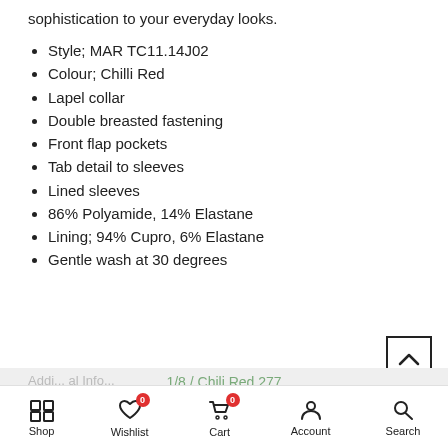sophistication to your everyday looks.
Style: MAR TC11.14J02
Colour: Chilli Red
Lapel collar
Double breasted fastening
Front flap pockets
Tab detail to sleeves
Lined sleeves
86% Polyamide, 14% Elastane
Lining: 94% Cupro, 6% Elastane
Gentle wash at 30 degrees
1/8 / Chili Red 277